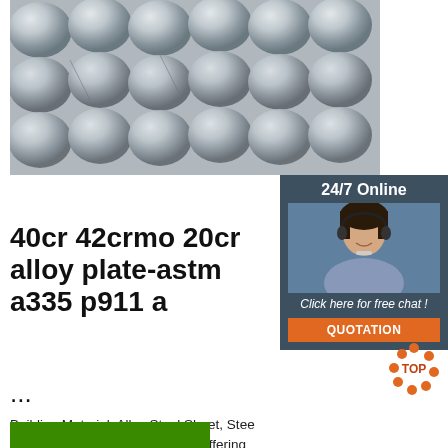[Figure (photo): Steel alloy cylindrical rods bundled together, metallic grey color]
[Figure (photo): Customer service agent / chat support widget with '24/7 Online' header, agent photo, 'Click here for free chat!' text, and orange QUOTATION button]
40cr 42crmo 20cr alloy plate-astm a335 p911 a ...
Building Material, Alloy Steel Sheet, Steel manufacturer supplier in China, offering 20crmo 30CrMo 35CrMo 42CrMo Low A Spring Steel Sheet, ASTM 20g 15mo3 H High Strength Boiler Steel Plate, A572gr50 P265gh Hot Rolled Boiler and Pressure Vessel Steel Plate GB/T 3077 - GB/T 3077 Alloy Structure Steel ...
[Figure (logo): TOP logo with orange circular dots/arrows design]